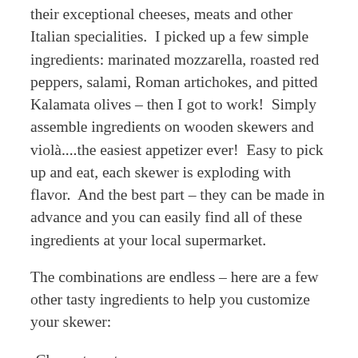their exceptional cheeses, meats and other Italian specialities.  I picked up a few simple ingredients: marinated mozzarella, roasted red peppers, salami, Roman artichokes, and pitted Kalamata olives – then I got to work!  Simply assemble ingredients on wooden skewers and violà....the easiest appetizer ever!  Easy to pick up and eat, each skewer is exploding with flavor.  And the best part – they can be made in advance and you can easily find all of these ingredients at your local supermarket.
The combinations are endless – here are a few other tasty ingredients to help you customize your skewer:
-Cherry tomatoes
-Artichoke hearts
-Mozzarella (marinated or plain)
-Roasted red peppers